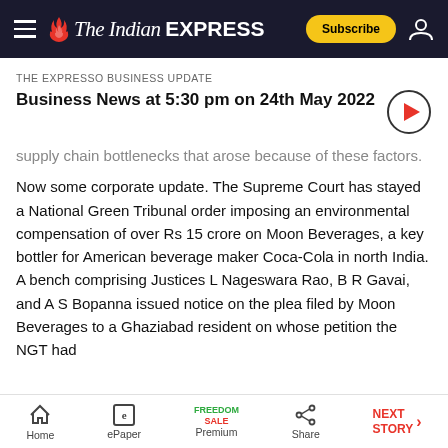The Indian Express — Subscribe
THE EXPRESSO BUSINESS UPDATE
Business News at 5:30 pm on 24th May 2022
supply chain bottlenecks that arose because of these factors.
Now some corporate update. The Supreme Court has stayed a National Green Tribunal order imposing an environmental compensation of over Rs 15 crore on Moon Beverages, a key bottler for American beverage maker Coca-Cola in north India. A bench comprising Justices L Nageswara Rao, B R Gavai, and A S Bopanna issued notice on the plea filed by Moon Beverages to a Ghaziabad resident on whose petition the NGT had
Home | ePaper | Premium | Share | NEXT STORY